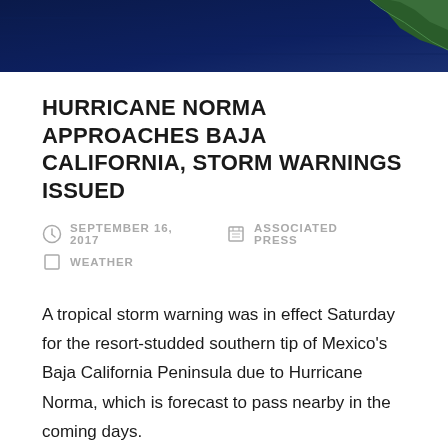[Figure (photo): Satellite image showing the eastern Pacific coast near Baja California, dark blue ocean with green landmass visible at upper right corner]
HURRICANE NORMA APPROACHES BAJA CALIFORNIA, STORM WARNINGS ISSUED
SEPTEMBER 16, 2017   ASSOCIATED PRESS   WEATHER
A tropical storm warning was in effect Saturday for the resort-studded southern tip of Mexico's Baja California Peninsula due to Hurricane Norma, which is forecast to pass nearby in the coming days.
The U.S. National Hurricane Center said the storm was essentially stationary in the morning but was expected to resume motion toward the north and